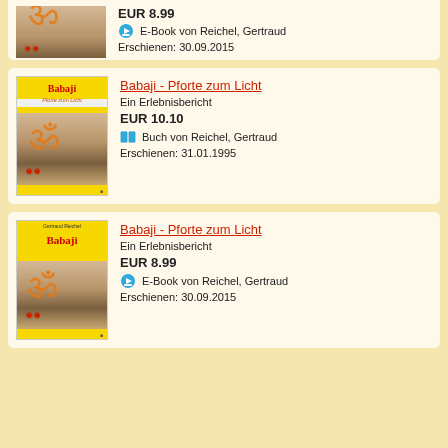[Figure (illustration): Partial book listing card at top of page for Babaji - Gateway to the Light (E-Book). Shows bottom of book cover image and product details: EUR 8.99, E-Book von Reichel, Gertraud, Erschienen: 30.09.2015]
[Figure (illustration): Book listing card for Babaji - Pforte zum Licht. Shows book cover with yellow top bar, Babaji title in red, Om symbol. Details: Ein Erlebnisbericht, EUR 10.10, Buch von Reichel Gertraud, Erschienen: 31.01.1995]
[Figure (illustration): Book listing card for Babaji - Pforte zum Licht (E-Book). Shows book cover. Details: Ein Erlebnisbericht, EUR 8.99, E-Book von Reichel Gertraud, Erschienen: 30.09.2015]